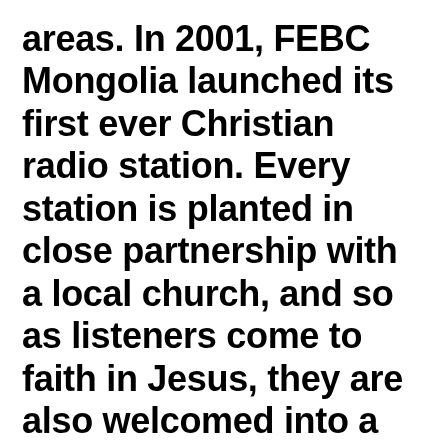areas. In 2001, FEBC Mongolia launched its first ever Christian radio station. Every station is planted in close partnership with a local church, and so as listeners come to faith in Jesus, they are also welcomed into a local body of believers. There are still many regions of Mongolia where the gospel has little presence; FEBC Mongolia's